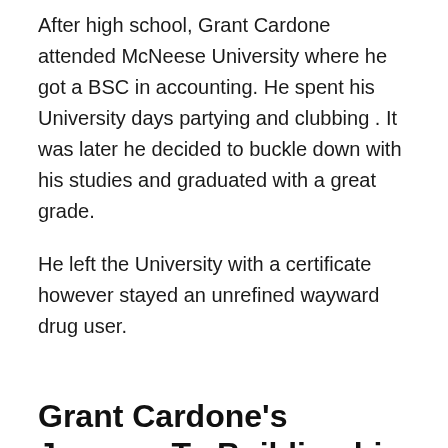After high school, Grant Cardone attended McNeese University where he got a BSC in accounting. He spent his University days partying and clubbing . It was later he decided to buckle down with his studies and graduated with a great grade.
He left the University with a certificate however stayed an unrefined wayward drug user.
Grant Cardone's Journey To Building his Wealth & Net Worth
Unlike numerous other people, Grant was fortunate to work as a salesman in an automobile workshop. He has to supervise the procedure and tape of selling.